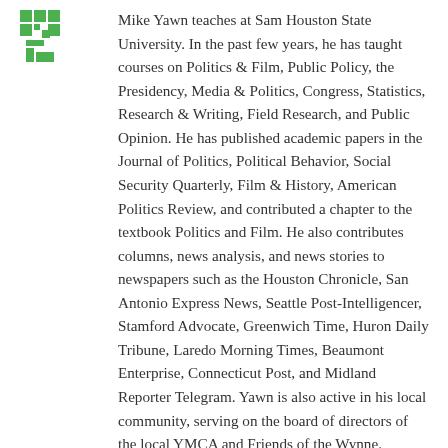[Figure (logo): Green pixelated/grid logo icon in top-left corner]
Mike Yawn teaches at Sam Houston State University. In the past few years, he has taught courses on Politics & Film, Public Policy, the Presidency, Media & Politics, Congress, Statistics, Research & Writing, Field Research, and Public Opinion. He has published academic papers in the Journal of Politics, Political Behavior, Social Security Quarterly, Film & History, American Politics Review, and contributed a chapter to the textbook Politics and Film. He also contributes columns, news analysis, and news stories to newspapers such as the Houston Chronicle, San Antonio Express News, Seattle Post-Intelligencer, Stamford Advocate, Greenwich Time, Huron Daily Tribune, Laredo Morning Times, Beaumont Enterprise, Connecticut Post, and Midland Reporter Telegram. Yawn is also active in his local community, serving on the board of directors of the local YMCA and Friends of the Wynne. Previously, he served on the